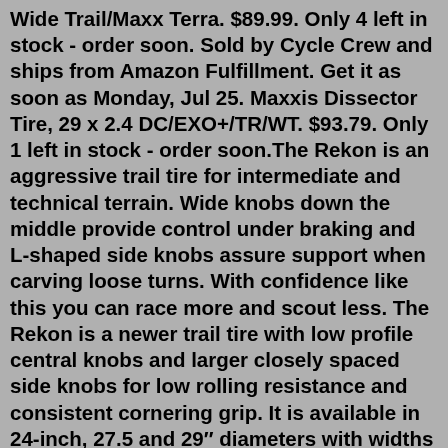Wide Trail/Maxx Terra. $89.99. Only 4 left in stock - order soon. Sold by Cycle Crew and ships from Amazon Fulfillment. Get it as soon as Monday, Jul 25. Maxxis Dissector Tire, 29 x 2.4 DC/EXO+/TR/WT. $93.79. Only 1 left in stock - order soon.The Rekon is an aggressive trail tire for intermediate and technical terrain. Wide knobs down the middle provide control under braking and L-shaped side knobs assure support when carving loose turns. With confidence like this you can race more and scout less. The Rekon is a newer trail tire with low profile central knobs and larger closely spaced side knobs for low rolling resistance and consistent cornering grip. It is available in 24-inch, 27.5 and 29″ diameters with widths from 2.2″ to Wide Trail 2.6-inch.A light-duty trail tire designed to go fast in technical terrain, the Maxxis Rekon tire serves well as either a front or rear tire and excels in hardpack to loose conditions. Features Tan wall version features Dual Compound rubber tread for a lower rolling resistance at center joined with extra grip for cornering$64.99. Maxxis's